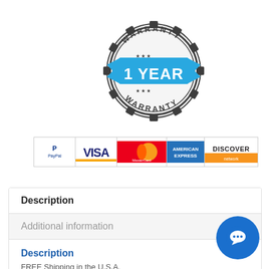[Figure (illustration): 1 Year Warranty badge/stamp with gear border and blue ribbon banner reading '1 YEAR']
[Figure (illustration): Payment method logos: PayPal, Visa, MasterCard, American Express, Discover]
Description
Additional information
Description
FREE Shipping in the U.S.A.